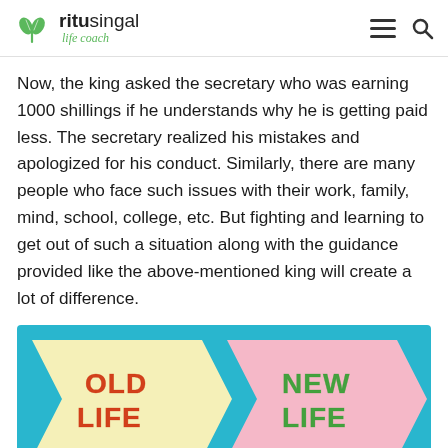ritusingal life coach
Now, the king asked the secretary who was earning 1000 shillings if he understands why he is getting paid less. The secretary realized his mistakes and apologized for his conduct. Similarly, there are many people who face such issues with their work, family, mind, school, college, etc. But fighting and learning to get out of such a situation along with the guidance provided like the above-mentioned king will create a lot of difference.
[Figure (photo): Two arrow-shaped signs on a teal/turquoise background. Left arrow is pale yellow with 'OLD LIFE' in red textured letters. Right arrow is pink with 'NEW LIFE' in green textured letters.]